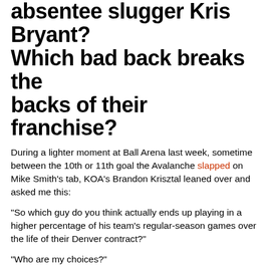absentee slugger Kris Bryant? Which bad back breaks the backs of their franchise?
During a lighter moment at Ball Arena last week, sometime between the 10th or 11th goal the Avalanche slapped on Mike Smith's tab, KOA's Brandon Krisztal leaned over and asked me this:
“So which guy do you think actually ends up playing in a higher percentage of his team’s regular-season games over the life of their Denver contract?”
“Who are my choices?”
“Kris Bryant with the Rockies? Or Michael Porter Jr. with the Nuggets?”
“Ooooh. Tough one, man.”